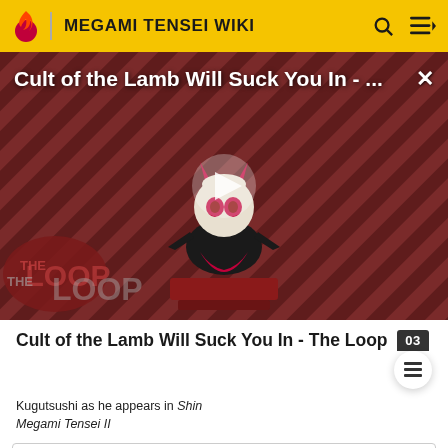MEGAMI TENSEI WIKI
[Figure (screenshot): Video thumbnail for 'Cult of the Lamb Will Suck You In - The Loop' featuring an animated demon character on a striped red/black background with The Loop branding and a play button overlay]
Cult of the Lamb Will Suck You In - The Loop
Kugutsushi as he appears in Shin Megami Tensei II
Shin Megami Tensei II Demons
[Expand]